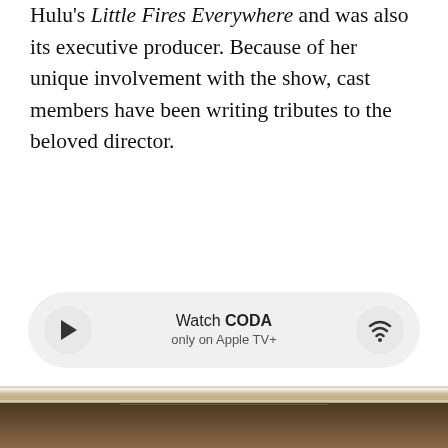Hulu's Little Fires Everywhere and was also its executive producer. Because of her unique involvement with the show, cast members have been writing tributes to the beloved director.
[Figure (infographic): Watch CODA widget with play button on left, wifi/streaming icon on right, text center reads 'Watch CODA only on Apple TV+']
As a way to celebrate the life of Lynn Shelton, here are some of the heartfelt tributes from Little Fires Everywhere's cast.
[Figure (photo): Bottom portion of a photo showing what appears to be a wooden or industrial surface with horizontal lines/rails and a light bar]